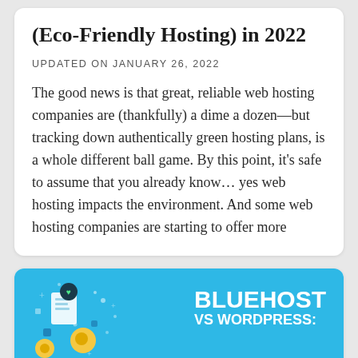(Eco-Friendly Hosting) in 2022
UPDATED ON JANUARY 26, 2022
The good news is that great, reliable web hosting companies are (thankfully) a dime a dozen—but tracking down authentically green hosting plans, is a whole different ball game. By this point, it's safe to assume that you already know… yes web hosting impacts the environment. And some web hosting companies are starting to offer more
[Figure (infographic): Bluehost VS WordPress promotional banner with blue background, white bold text reading BLUEHOST VS WORDPRESS:, and illustrated tech/server icons on the left side]